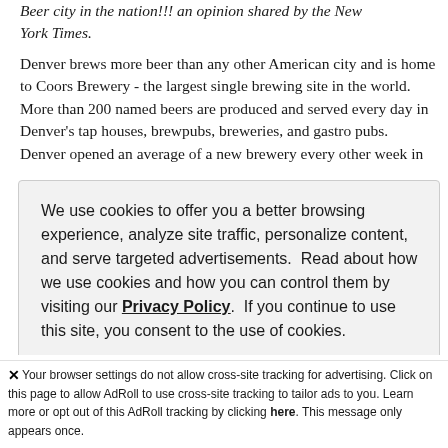Beer city in the nation!!! an opinion shared by the New York Times. Denver brews more beer than any other American city and is home to Coors Brewery - the largest single brewing site in the world. More than 200 named beers are produced and served every day in Denver's tap houses, brewpubs, breweries, and gastro pubs. Denver opened an average of a new brewery every other week in 2013, and continue at the same pace in 2014. There are over 20
We use cookies to offer you a better browsing experience, analyze site traffic, personalize content, and serve targeted advertisements. Read about how we use cookies and how you can control them by visiting our Privacy Policy. If you continue to use this site, you consent to the use of cookies.
Accept and Close
✕ Your browser settings do not allow cross-site tracking for advertising. Click on this page to allow AdRoll to use cross-site tracking to tailor ads to you. Learn more or opt out of this AdRoll tracking by clicking here. This message only appears once.